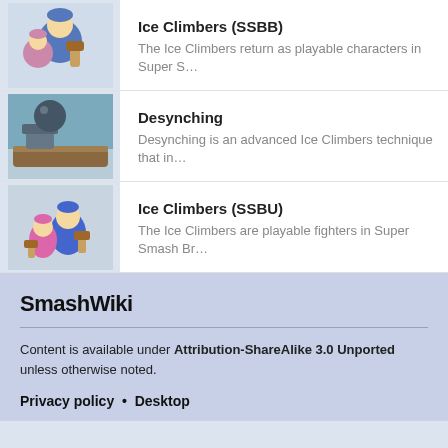Ice Climbers (SSBB)
The Ice Climbers return as playable characters in Super S...
Desynching
Desynching is an advanced Ice Climbers technique that in...
Ice Climbers (SSBU)
The Ice Climbers are playable fighters in Super Smash Br...
SmashWiki
Content is available under Attribution-ShareAlike 3.0 Unported unless otherwise noted.
Privacy policy  •  Desktop